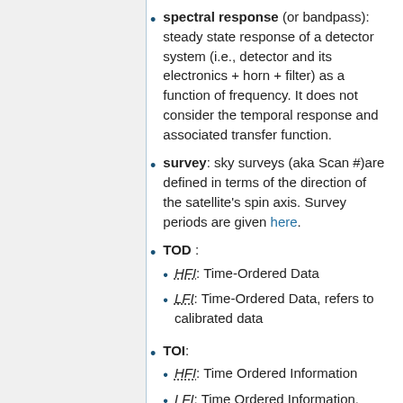spectral response (or bandpass): steady state response of a detector system (i.e., detector and its electronics + horn + filter) as a function of frequency. It does not consider the temporal response and associated transfer function.
survey: sky surveys (aka Scan #)are defined in terms of the direction of the satellite's spin axis. Survey periods are given here.
TOD :
HFI: Time-Ordered Data
LFI: Time-Ordered Data, refers to calibrated data
TOI:
HFI: Time Ordered Information
LFI: Time Ordered Information, refers to uncalibrated data